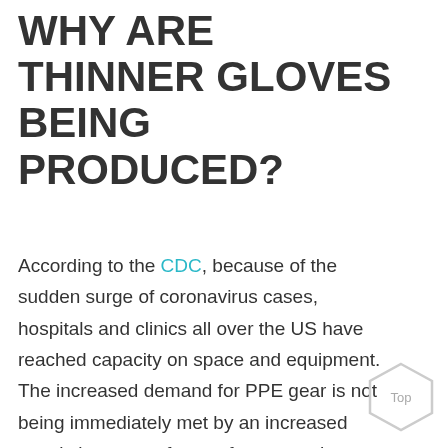WHY ARE THINNER GLOVES BEING PRODUCED?
According to the CDC, because of the sudden surge of coronavirus cases, hospitals and clinics all over the US have reached capacity on space and equipment. The increased demand for PPE gear is not being immediately met by an increased supply because of many factors such as price hikes and import complications. This is why the US now has to produce these goods domestically. To meet the need of the hour as quickly as possible,